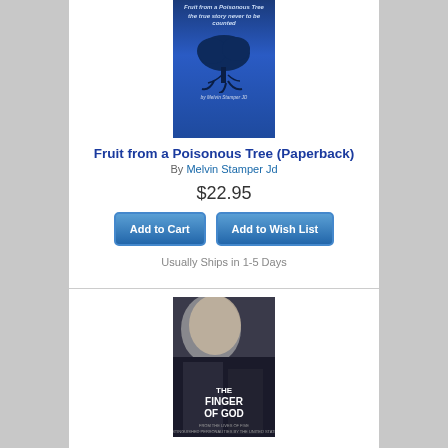[Figure (photo): Book cover for 'Fruit from a Poisonous Tree' showing a blue-toned cover with a tree and roots illustration]
Fruit from a Poisonous Tree (Paperback)
By Melvin Stamper Jd
$22.95
Add to Cart
Add to Wish List
Usually Ships in 1-5 Days
[Figure (photo): Book cover for 'The Finger of God' showing a woman's face and man's face with text THE FINGER OF GOD]
The Finger of God (Hardcover)
By Jr. Jackson, Jesse L., Jr. Forbes, James A.